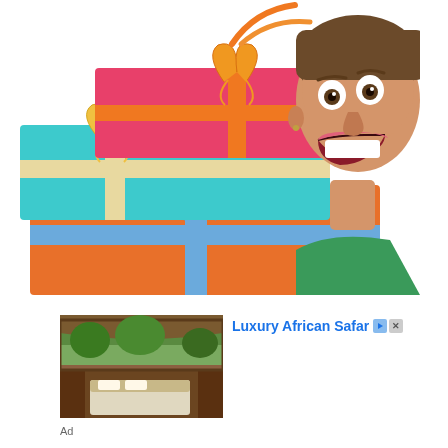[Figure (photo): Excited woman with wide open mouth and eyes peeking over a stack of colorful wrapped gift boxes — pink box with orange ribbon on top, teal box with cream ribbon in middle, orange box with blue ribbon in front. White background.]
[Figure (photo): Advertisement thumbnail image of a luxury safari lodge bedroom interior with wooden furniture, a bed with white linens, and an open view to a lush outdoor landscape.]
Luxury African Safar
Ad